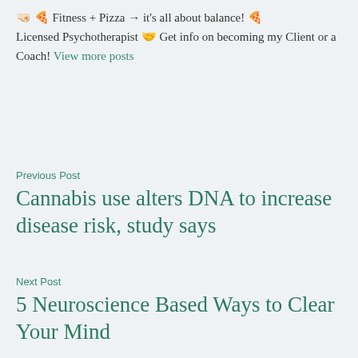🤜🏻 🍕 Fitness + Pizza → it's all about balance! 🍕 Licensed Psychotherapist 🤝 Get info on becoming my Client or a Coach! View more posts
Previous Post
Cannabis use alters DNA to increase disease risk, study says
Next Post
5 Neuroscience Based Ways to Clear Your Mind